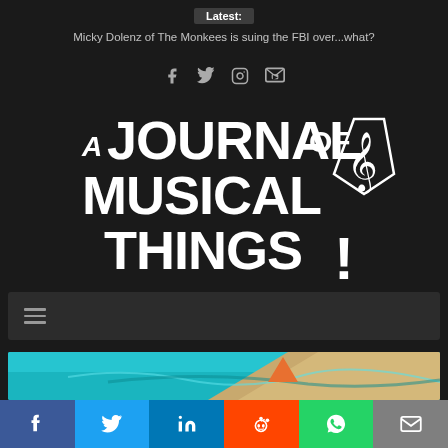Latest: Micky Dolenz of The Monkees is suing the FBI over...what?
[Figure (logo): A Journal of Musical Things logo — white hand-lettered text with a pen nib and treble clef graphic on dark background]
[Figure (photo): Aerial photograph of a beach coastline with turquoise water and sandy shore]
[Figure (infographic): Social media share bar with Facebook, Twitter, LinkedIn, Reddit, WhatsApp, and Email buttons]